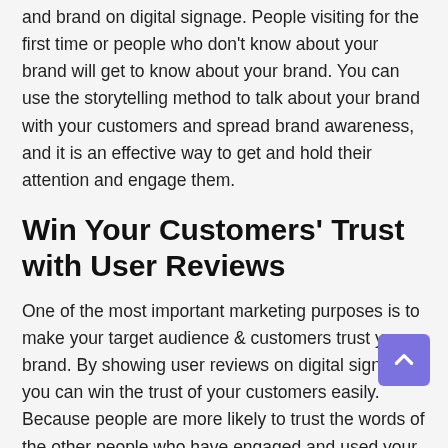and brand on digital signage. People visiting for the first time or people who don't know about your brand will get to know about your brand. You can use the storytelling method to talk about your brand with your customers and spread brand awareness, and it is an effective way to get and hold their attention and engage them.
Win Your Customers' Trust with User Reviews
One of the most important marketing purposes is to make your target audience & customers trust your brand. By showing user reviews on digital signage, you can win the trust of your customers easily. Because people are more likely to trust the words of the other people who have engaged and used your services. User reviews can also help your guests use recommendations on your recipes and hot spots they should tour.
Promote Your Hotel with Engaging